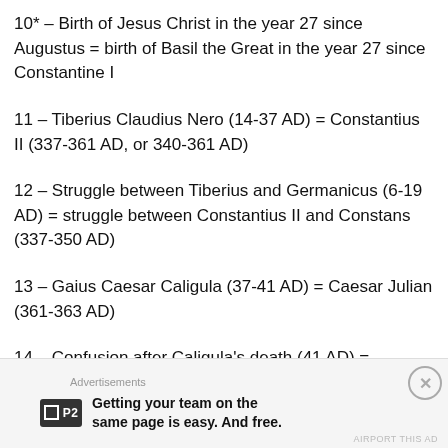10* – Birth of Jesus Christ in the year 27 since Augustus = birth of Basil the Great in the year 27 since Constantine I
11 – Tiberius Claudius Nero (14-37 AD) = Constantius II (337-361 AD, or 340-361 AD)
12 – Struggle between Tiberius and Germanicus (6-19 AD) = struggle between Constantius II and Constans (337-350 AD)
13 – Gaius Caesar Caligula (37-41 AD) = Caesar Julian (361-363 AD)
14 – Confusion after Caligula's death (41 AD) = confusion after Julian's death (363 AD)
[Figure (other): Advertisement banner for P2 app: 'Getting your team on the same page is easy. And free.']